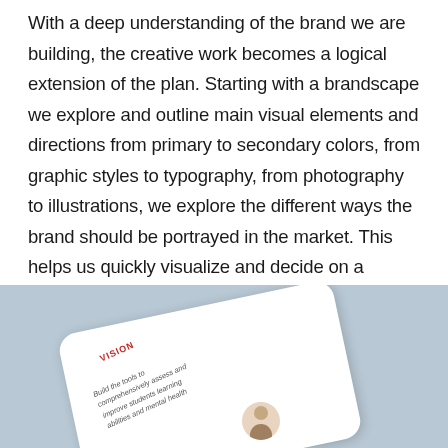With a deep understanding of the brand we are building, the creative work becomes a logical extension of the plan. Starting with a brandscape we explore and outline main visual elements and directions from primary to secondary colors, from graphic styles to typography, from photography to illustrations, we explore the different ways the brand should be portrayed in the market. This helps us quickly visualize and decide on a creative direction that is unique in its visible representation in the market.
[Figure (photo): A document or card with 'VISION' text and italic text reading 'Build the tools to comprehensively assess and improve students learning abilities and mental health', placed on a light blue-grey background, with a small circular portrait photo visible.]